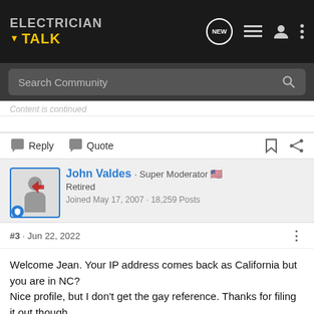Electrician Talk - Navigation bar with search
Reply   Quote
John Valdes · Super Moderator 🇺🇸
Retired
Joined May 17, 2007 · 18,259 Posts
#3 · Jun 22, 2022
Welcome Jean. Your IP address comes back as California but you are in NC?
Nice profile, but I don't get the gay reference. Thanks for filing it out though.
yankeeice1141 and oldaparky52